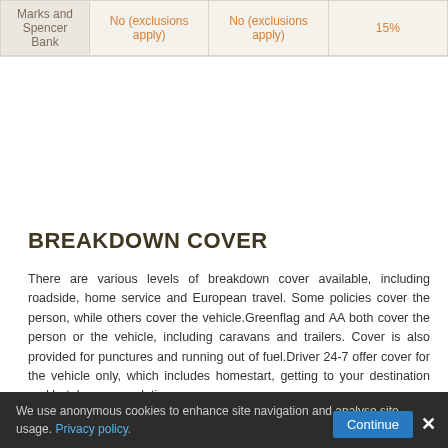| Provider | Col2 | Col3 | Col4 |
| --- | --- | --- | --- |
| Marks and Spencer Bank | No (exclusions apply) | No (exclusions apply) | 15% |
BREAKDOWN COVER
There are various levels of breakdown cover available, including roadside, home service and European travel. Some policies cover the person, while others cover the vehicle.Greenflag and AA both cover the person or the vehicle, including caravans and trailers. Cover is also provided for punctures and running out of fuel.Driver 24-7 offer cover for the vehicle only, which includes homestart, getting to your destination and hotel accommodation.
GEM Motoring Assist provide cover for the person only. Their cover includes alternative travel and a free mobile app.
We use anonymous cookies to enhance site navigation and analyse site usage. Privacy policy.